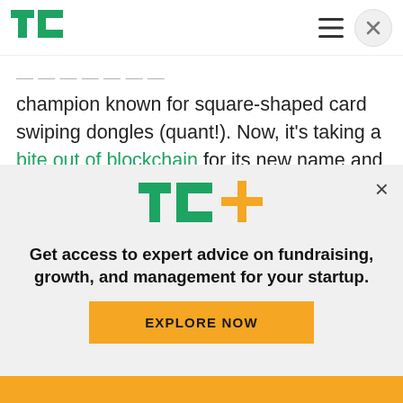TechCrunch logo, hamburger menu, close button
champion known for square-shaped card swiping dongles (quant!). Now, it's taking a bite out of blockchain for its new name and identity, although apparently Block is not just about that. The company says it's also a reference to block parties, building code, obstacles to overcome, "and of course, tungsten cubes." (Click for more cringe.)
[Figure (logo): TechCrunch TC+ logo with green TC letters and orange plus sign]
Get access to expert advice on fundraising, growth, and management for your startup.
EXPLORE NOW